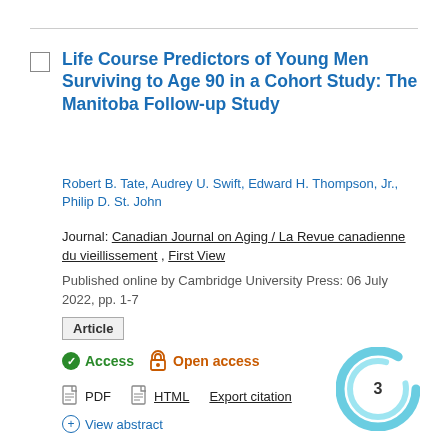Life Course Predictors of Young Men Surviving to Age 90 in a Cohort Study: The Manitoba Follow-up Study
Robert B. Tate, Audrey U. Swift, Edward H. Thompson, Jr., Philip D. St. John
Journal: Canadian Journal on Aging / La Revue canadienne du vieillissement , First View
Published online by Cambridge University Press: 06 July 2022, pp. 1-7
Article
Access   Open access
PDF   HTML   Export citation
View abstract
[Figure (other): Circular teal badge with the number 3 in the center, surrounded by swirling teal rings]